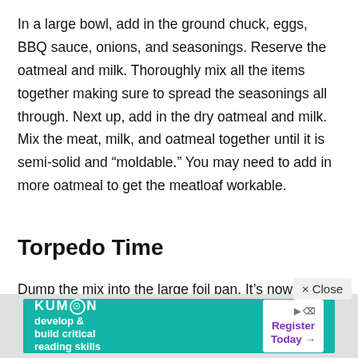In a large bowl, add in the ground chuck, eggs, BBQ sauce, onions, and seasonings. Reserve the oatmeal and milk. Thoroughly mix all the items together making sure to spread the seasonings all through. Next up, add in the dry oatmeal and milk. Mix the meat, milk, and oatmeal together until it is semi-solid and “moldable.” You may need to add in more oatmeal to get the meatloaf workable.
Torpedo Time
Dump the mix into the large foil pan. It’s now time to form the “Meat Torpedo.” You will want to shape the meatloaf into a torpedo form for grilling purposes. Try and achieve the thickness of your usual piece of meatloaf from end to end. This shape helps the meatloaf cook evenly on the g
[Figure (other): Advertisement banner for Kumon reading skills program with teal background, showing Kumon logo and 'develop & build critical reading skills' text, with a 'Register Today' button on the right and a close button overlay]